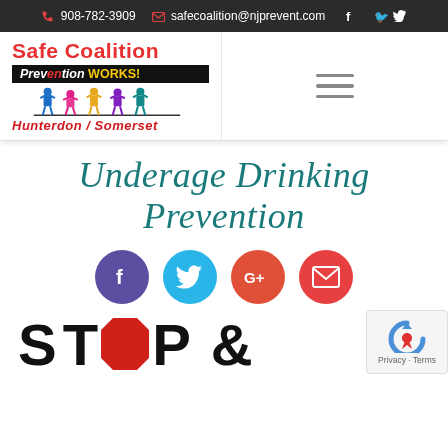908-782-3909   safecoalition@njprevent.com
[Figure (logo): Safe Coalition Prevention WORKS! Hunterdon / Somerset logo with children figures holding a banner]
Underage Drinking Prevention
[Figure (infographic): Social media share buttons: Facebook (purple), Twitter (blue), Google+ (red-orange), Email (red)]
[Figure (infographic): STOP & text in large bold black letters with red octagon stop sign replacing the letter O]